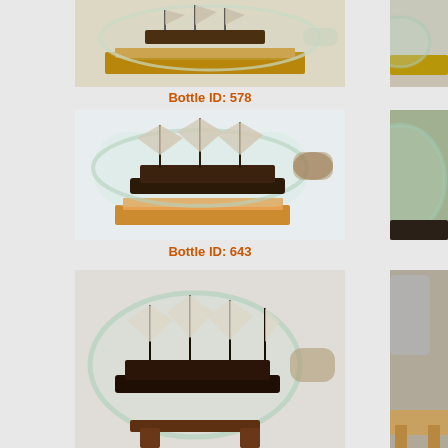[Figure (photo): Ship in a bottle model on wooden base, photo from left column, top position — Bottle ID 578]
Bottle ID: 578
[Figure (photo): Ship in a bottle with tall masts and sails on wooden display stand, photo from left column, middle position — Bottle ID 643]
Bottle ID: 643
[Figure (photo): Ship in a bottle inside a round/oval bottle on wooden stand, photo from left column, bottom position]
[Figure (photo): Partial ship in bottle photo, right column top]
[Figure (photo): Partial ship in bottle photo, right column middle]
[Figure (photo): Partial ship in bottle photo, right column bottom]